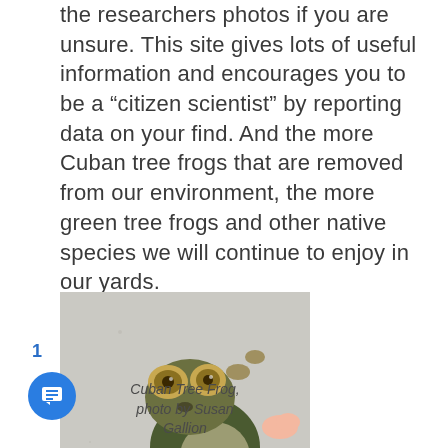the researchers photos if you are unsure. This site gives lots of useful information and encourages you to be a “citizen scientist” by reporting data on your find. And the more Cuban tree frogs that are removed from our environment, the more green tree frogs and other native species we will continue to enjoy in our yards.
[Figure (photo): Close-up photo of a Cuban Tree Frog clinging to a surface, showing its distinctive large eyes and toe pads. Photo taken against a light gray/concrete wall background.]
Cuban Tree Frog, photo by Susan Gallion